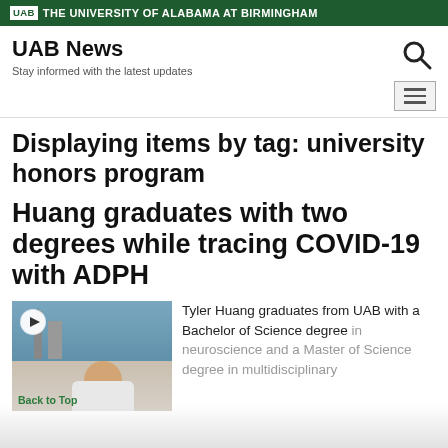UAB THE UNIVERSITY OF ALABAMA AT BIRMINGHAM
UAB News
Stay informed with the latest updates
Displaying items by tag: university honors program
Huang graduates with two degrees while tracing COVID-19 with ADPH
[Figure (photo): Photo of Tyler Huang smiling, with a cityscape in the background, with a video play button overlay]
Tyler Huang graduates from UAB with a Bachelor of Science degree in neuroscience and a Master of Science degree in multidisciplinary
Back to Top